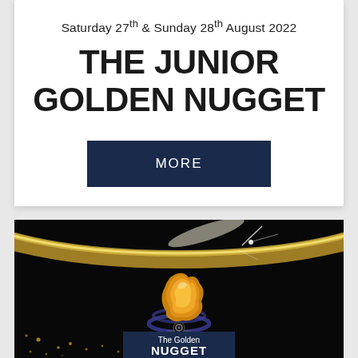Saturday 27th & Sunday 28th August 2022
THE JUNIOR GOLDEN NUGGET
MORE
[Figure (photo): The Golden Nugget award trophy — a gold nugget figurine with blue orbital rings, on a dark background with gold arc and sparkles. Bottom shows 'The Golden NUGGET' logo on dark blue background.]